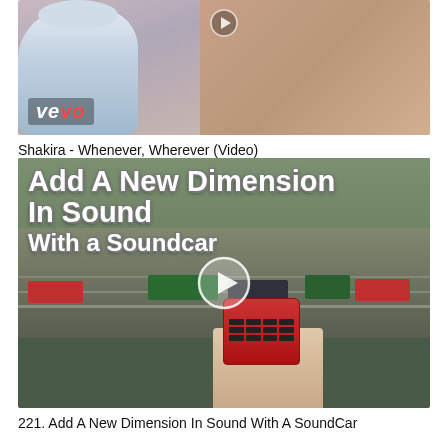[Figure (screenshot): Thumbnail of Shakira Whenever Wherever music video on Vevo, showing Shakira and a robot figure in a desert setting with Vevo logo watermark]
Shakira - Whenever, Wherever (Video)
[Figure (screenshot): Video thumbnail showing a model train layout with multiple locomotives on tracks, a hand holding a remote control, and overlay text reading 'Add A New Dimension In Sound With a Soundcar' with a play button]
221. Add A New Dimension In Sound With A SoundCar